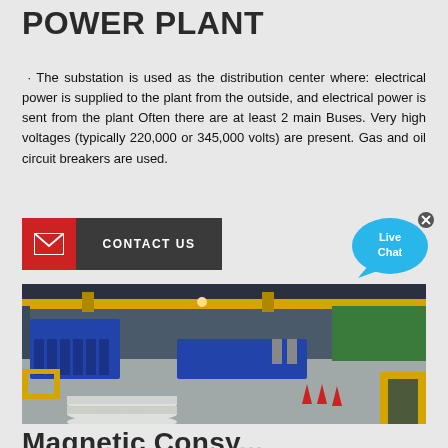POWER PLANT
· The substation is used as the distribution center where: electrical power is supplied to the plant from the outside, and electrical power is sent from the plant Often there are at least 2 main Buses. Very high voltages (typically 220,000 or 345,000 volts) are present. Gas and oil circuit breakers are used.
[Figure (other): Contact Us button with red envelope icon and dark grey label]
[Figure (other): Live Chat bubble widget in blue]
[Figure (photo): Interior of an industrial power plant facility showing equipment, yellow safety barriers, blue machinery, and white cylindrical components on the floor]
Magnetic Consy...